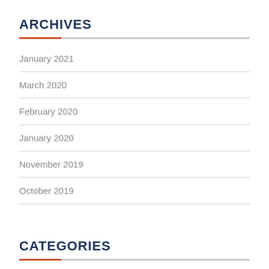ARCHIVES
January 2021
March 2020
February 2020
January 2020
November 2019
October 2019
CATEGORIES